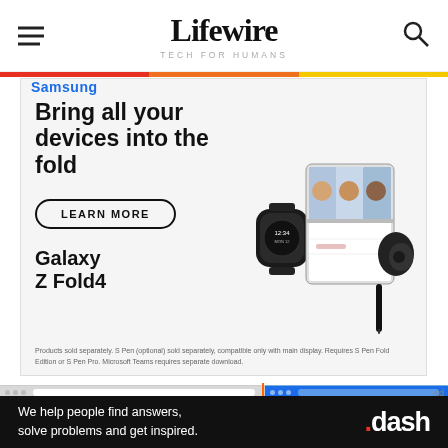Lifewire — TECH FOR HUMANS
[Figure (infographic): Samsung Galaxy Z Fold4 advertisement banner. Headline: 'Bring all your devices into the fold'. Button: 'LEARN MORE'. Product name: 'Galaxy Z Fold4'. Images of a smartwatch, folding phone with video call on screen, and wireless earbuds. Fine print: 'Products sold separately. S Pen (optional) sold separately, compatible only with main display. Requires S Pen Fold Edition or S Pen Pro. Microsoft Teams requires separate download.']
[Figure (screenshot): Two screenshots showing iTunes file icons in a file browser (left, white background) and a blue-themed file browser with small icons (right).]
Ad
We help people find answers, solve problems and get inspired.  .dash